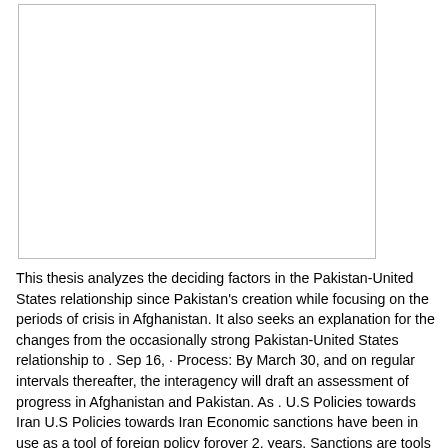[Figure (other): White rectangular image placeholder with a thin border]
This thesis analyzes the deciding factors in the Pakistan-United States relationship since Pakistan's creation while focusing on the periods of crisis in Afghanistan. It also seeks an explanation for the changes from the occasionally strong Pakistan-United States relationship to . Sep 16,  · Process: By March 30, and on regular intervals thereafter, the interagency will draft an assessment of progress in Afghanistan and Pakistan. As . U.S Policies towards Iran U.S Policies towards Iran Economic sanctions have been in use as a tool of foreign policy forover 2, years. Sanctions are tools used by governments to influence other nations to adopt their